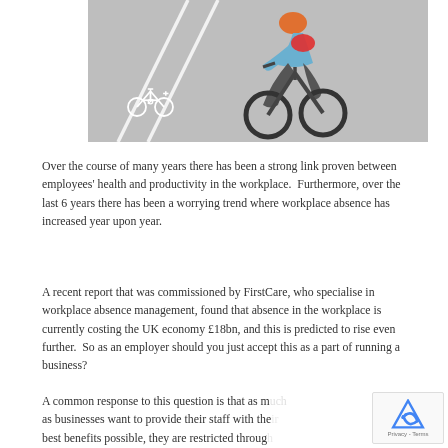[Figure (photo): Aerial view of a cyclist riding in a marked bicycle lane on a road, wearing a red backpack and blue shorts.]
Over the course of many years there has been a strong link proven between employees' health and productivity in the workplace.  Furthermore, over the last 6 years there has been a worrying trend where workplace absence has increased year upon year.
A recent report that was commissioned by FirstCare, who specialise in workplace absence management, found that absence in the workplace is currently costing the UK economy £18bn, and this is predicted to rise even further.  So as an employer should you just accept this as a part of running a business?
A common response to this question is that as much as businesses want to provide their staff with the best benefits possible, they are restricted through increasing budgetary financial pressures and it is